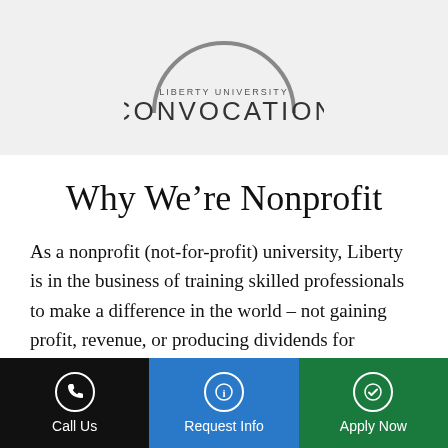[Figure (logo): Liberty University Convocation logo with arch and text]
Why We’re Nonprofit
As a nonprofit (not-for-profit) university, Liberty is in the business of training skilled professionals to make a difference in the world – not gaining profit, revenue, or producing dividends for shareholders. In keeping with our commitment to
Call Us | Request Info | Apply Now